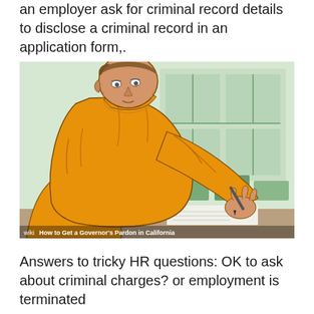an employer ask for criminal record details to disclose a criminal record in an application form,.
[Figure (illustration): Illustration of a man in an orange jumpsuit writing on a form at a desk, in a WikiHow style drawing. Background shows a green-tinted room. Watermark reads 'wikiHow to Get a Governor's Pardon in California'.]
Answers to tricky HR questions: OK to ask about criminal charges? or employment is terminated